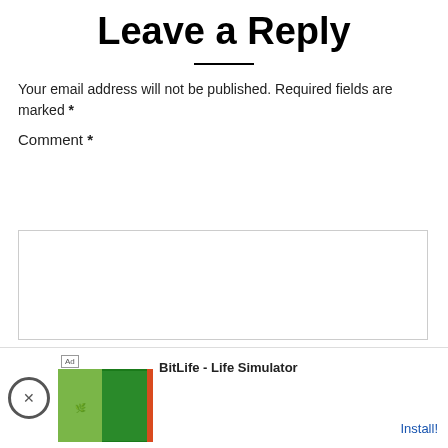Leave a Reply
Your email address will not be published. Required fields are marked *
Comment *
[Figure (screenshot): Comment text area input box, partially overlaid by a black video player overlay with close button]
[Figure (screenshot): Mobile ad banner at bottom showing BitLife - Life Simulator app with Install button, ad label, and close button]